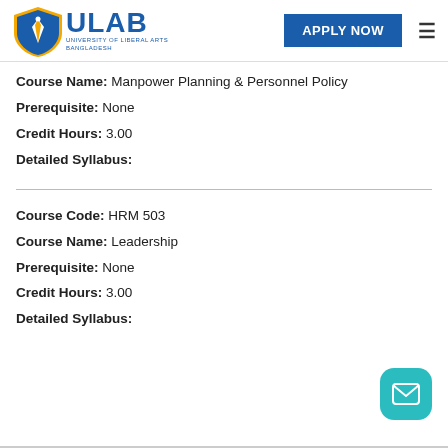ULAB - University of Liberal Arts Bangladesh | APPLY NOW
Course Name: Manpower Planning & Personnel Policy
Prerequisite: None
Credit Hours: 3.00
Detailed Syllabus:
Course Code: HRM 503
Course Name: Leadership
Prerequisite: None
Credit Hours: 3.00
Detailed Syllabus: